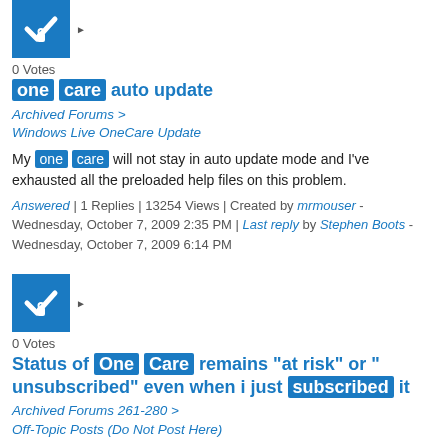[Figure (illustration): Blue square icon with white checkmark and lock symbol, with a right-pointing triangle arrow next to it]
0 Votes
one care auto update
Archived Forums > Windows Live OneCare Update
My one care will not stay in auto update mode and I've exhausted all the preloaded help files on this problem.
Answered | 1 Replies | 13254 Views | Created by mrmouser - Wednesday, October 7, 2009 2:35 PM | Last reply by Stephen Boots - Wednesday, October 7, 2009 6:14 PM
[Figure (illustration): Blue square icon with white checkmark and lock symbol, with a right-pointing triangle arrow next to it]
0 Votes
Status of One Care remains "at risk" or " unsubscribed" even when i just subscribed it
Archived Forums 261-280 > Off-Topic Posts (Do Not Post Here)
Forums Home > Windows Live OneCare > Windows Live OneCare General located ...
Answered | 1 Replies | 8029 Views | Created by nineball_ix - Friday, May 15, 2009 2:42 PM | Last reply by ...